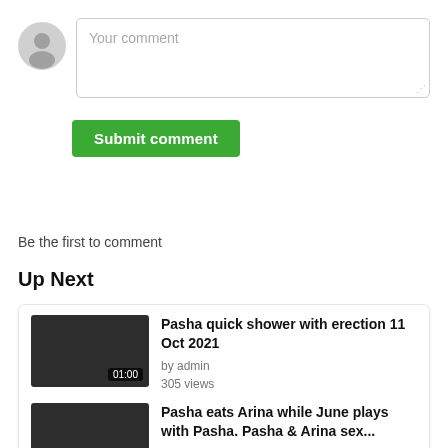[Figure (illustration): Gray user avatar circle icon]
Your comment
Submit comment
Be the first to comment
Up Next
[Figure (screenshot): Dark video thumbnail with duration badge 01:00]
Pasha quick shower with erection 11 Oct 2021
by admin
305 views
[Figure (screenshot): Dark video thumbnail, no badge visible]
Pasha eats Arina while June plays with Pasha. Pasha & Arina sex...
by admin